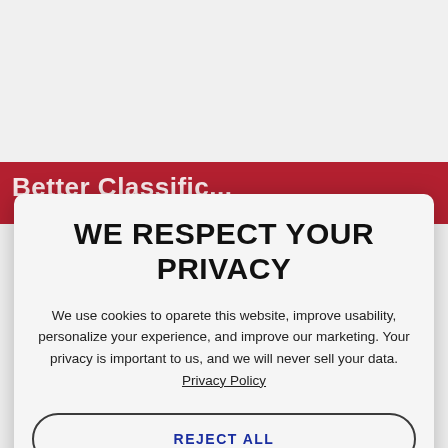WE RESPECT YOUR PRIVACY
We use cookies to oparete this website, improve usability, personalize your experience, and improve our marketing. Your privacy is important to us, and we will never sell your data. Privacy Policy
REJECT ALL
ACCEPT COOKIES